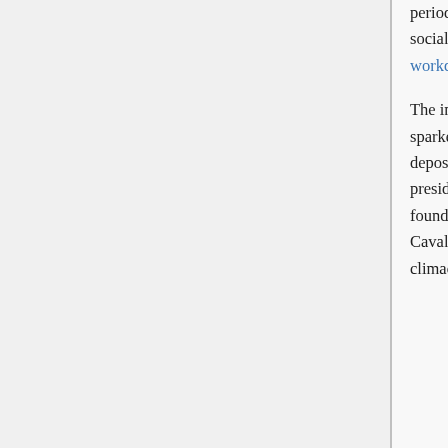period from 1935 to 1950 are marked by intense international tensions and a variety of social reforms introduced by the Fierté Nationale government (annual leave, eight-hour workdays, women in government).
The impeachment of Prime Minister Hugo Deshaies by king José VI in Marto of 1947 sparked protests which eventually culminated in the Tebax Revolt which saw the deposition of the king, the birth of the 2nd Republic and the election of Hugo Deshaies as president. In 1949, the Union of Realms was formed with Cavala being one of its 34 founding member states. In 1954 Cavalan Naphtora rebelled against the government, Cavala attempted to regain control but was defeated by the Wanyan Alliance in 1959 at the climactic Battle of